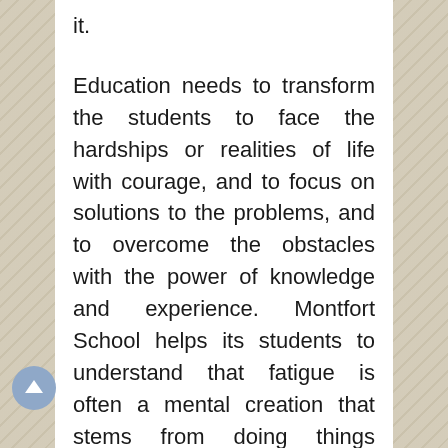it. Education needs to transform the students to face the hardships or realities of life with courage, and to focus on solutions to the problems, and to overcome the obstacles with the power of knowledge and experience. Montfort School helps its students to understand that fatigue is often a mental creation that stems from doing things people do not like to do. Students need to understand that it is not because things are difficult that they do not dare, but because they do not dare that things